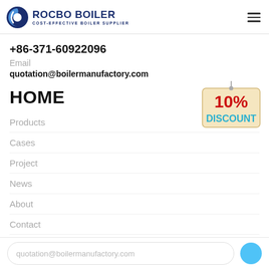[Figure (logo): Rocbo Boiler logo with blue crescent C icon and text ROCBO BOILER / COST-EFFECTIVE BOILER SUPPLIER]
+86-371-60922096
Email
quotation@boilermanufactory.com
HOME
Products
Cases
Project
News
About
Contact
[Figure (illustration): 10% DISCOUNT hanging sign badge]
quotation@boilermanufactory.com